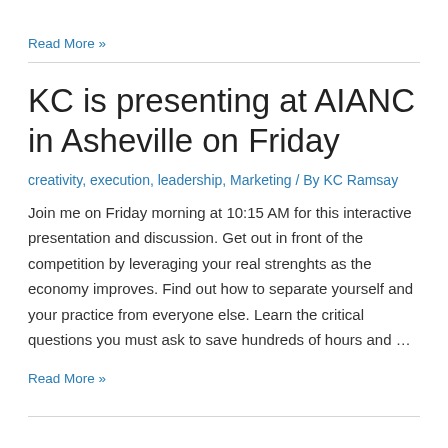Read More »
KC is presenting at AIANC in Asheville on Friday
creativity, execution, leadership, Marketing / By KC Ramsay
Join me on Friday morning at 10:15 AM for this interactive presentation and discussion. Get out in front of the competition by leveraging your real strenghts as the economy improves. Find out how to separate yourself and your practice from everyone else. Learn the critical questions you must ask to save hundreds of hours and …
Read More »